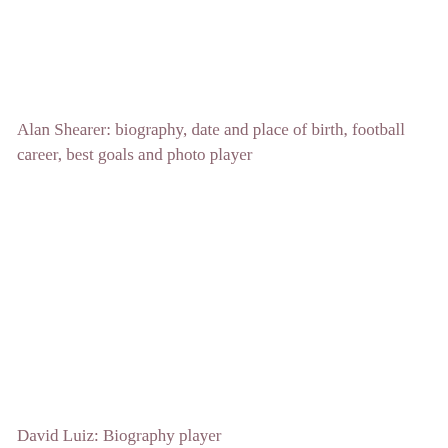Alan Shearer: biography, date and place of birth, football career, best goals and photo player
David Luiz: Biography player